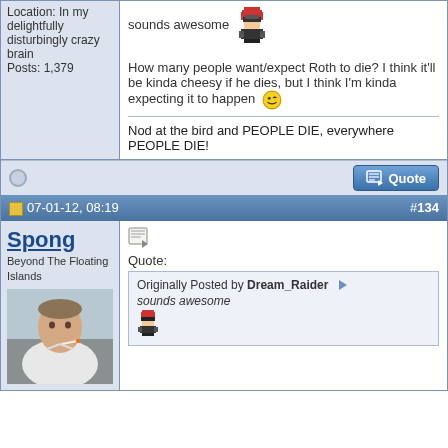Location: In my delightfully disturbingly crazy brain
Posts: 1,379
sounds awesome

How many people want/expect Roth to die? I think it'll be kinda cheesy if he dies, but I think I'm kinda expecting it to happen

Nod at the bird and PEOPLE DIE, everywhere PEOPLE DIE!
07-01-12, 08:19   #134
Spong
Beyond The Floating Islands
Quote:
Originally Posted by Dream_Raider
sounds awesome